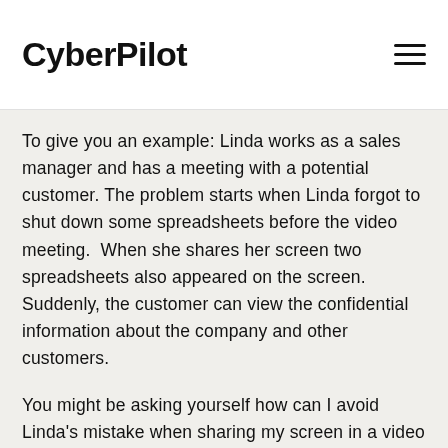CyberPilot
To give you an example: Linda works as a sales manager and has a meeting with a potential customer. The problem starts when Linda forgot to shut down some spreadsheets before the video meeting.  When she shares her screen two spreadsheets also appeared on the screen. Suddenly, the customer can view the confidential information about the company and other customers.
You might be asking yourself how can I avoid Linda's mistake when sharing my screen in a video meeting? You might have heard of the principle that 'preparation is key', and this applies here! If